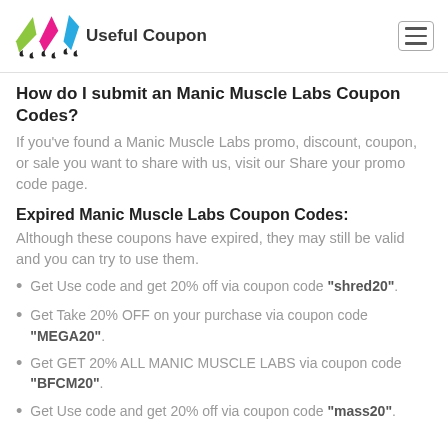Useful Coupon
How do I submit an Manic Muscle Labs Coupon Codes?
If you've found a Manic Muscle Labs promo, discount, coupon, or sale you want to share with us, visit our Share your promo code page.
Expired Manic Muscle Labs Coupon Codes:
Although these coupons have expired, they may still be valid and you can try to use them.
Get Use code and get 20% off via coupon code "shred20".
Get Take 20% OFF on your purchase via coupon code "MEGA20".
Get GET 20% ALL MANIC MUSCLE LABS via coupon code "BFCM20".
Get Use code and get 20% off via coupon code "mass20".